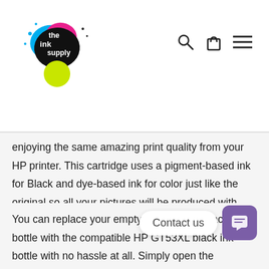the ink supply — navigation header with logo, search, cart, and menu icons
enjoying the same amazing print quality from your HP printer. This cartridge uses a pigment-based ink for Black and dye-based ink for color just like the original so all your pictures will be produced with exceptional colour vibrancy and long lasting prints just as they would with the original HP cartridge.
You can replace your empty HP GT53XL black ink bottle with the compatible HP GT53XL black ink bottle with no hassle at all. Simply open the